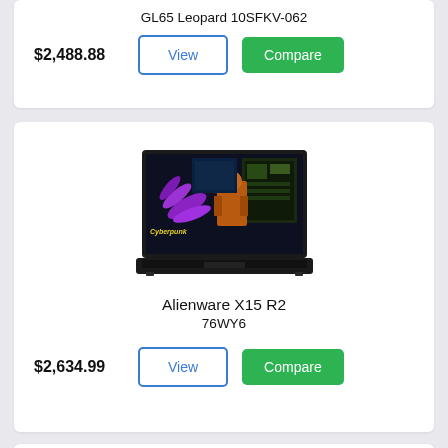GL65 Leopard 10SFKV-062
$2,488.88
View
Compare
[Figure (photo): Alienware X15 R2 gaming laptop with Cyberpunk game displayed on screen]
Alienware X15 R2
76WY6
$2,634.99
View
Compare